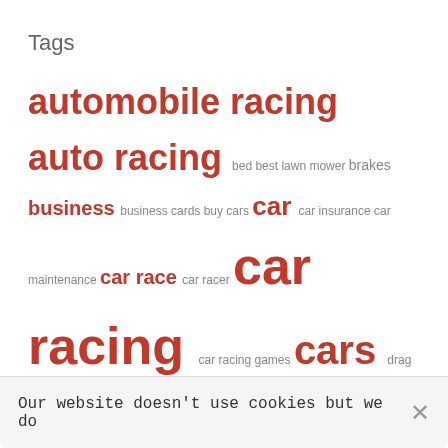Tags
automobile racing auto racing bed best lawn mower brakes business business cards buy cars car car insurance car maintenance car race car racer car racing car racing games cars drag racing drifting driving dui games health helmet home safe income internet gaming lawn mower do to your garden marketing muscle cars nascar pokemon race car race cars racing racing cars racing games real estate safe safety sports sports car Stock Car super cars
Our website doesn't use cookies but we do